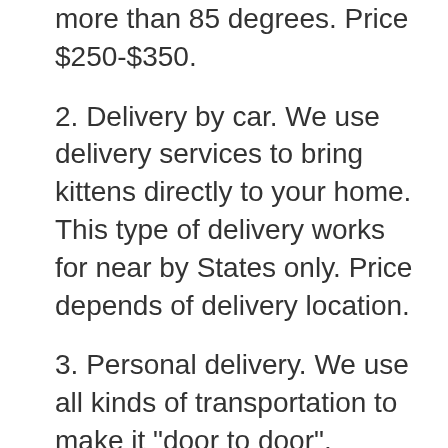more than 85 degrees. Price $250-$350.
2. Delivery by car. We use delivery services to bring kittens directly to your home. This type of delivery works for near by States only. Price depends of delivery location.
3. Personal delivery. We use all kinds of transportation to make it "door to door". Works for all States. Ask for price.
You are always more than welcome to pick your kitten up at our location.